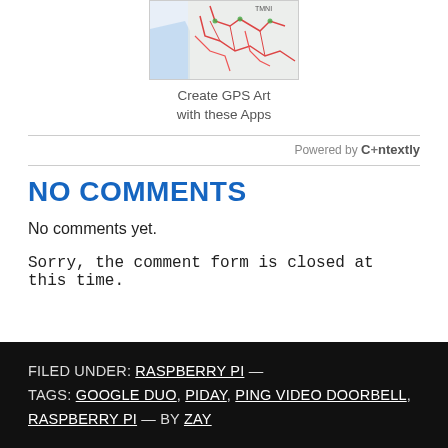[Figure (map): Thumbnail map image showing GPS art routes overlaid on a street map]
Create GPS Art with these Apps
Powered by Contextly
NO COMMENTS
No comments yet.
Sorry, the comment form is closed at this time.
FILED UNDER: RASPBERRY PI — TAGS: GOOGLE DUO, PIDAY, PING VIDEO DOORBELL, RASPBERRY PI — BY ZAY